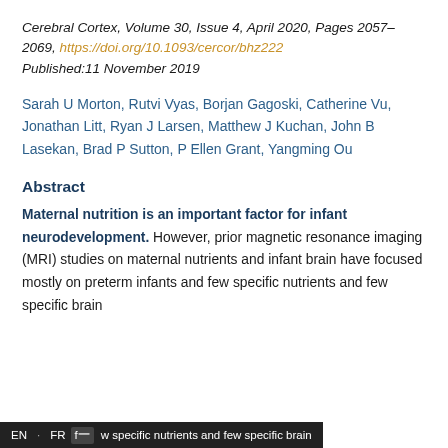Cerebral Cortex, Volume 30, Issue 4, April 2020, Pages 2057–2069, https://doi.org/10.1093/cercor/bhz222
Published:11 November 2019
Sarah U Morton, Rutvi Vyas, Borjan Gagoski, Catherine Vu, Jonathan Litt, Ryan J Larsen, Matthew J Kuchan, John B Lasekan, Brad P Sutton, P Ellen Grant, Yangming Ou
Abstract
Maternal nutrition is an important factor for infant neurodevelopment. However, prior magnetic resonance imaging (MRI) studies on maternal nutrients and infant brain have focused mostly on preterm infants and few specific nutrients and few specific brain